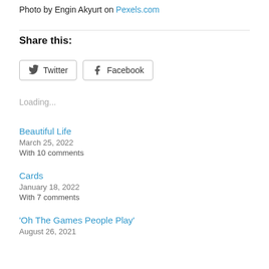Photo by Engin Akyurt on Pexels.com
Share this:
Loading...
Beautiful Life
March 25, 2022
With 10 comments
Cards
January 18, 2022
With 7 comments
'Oh The Games People Play'
August 26, 2021